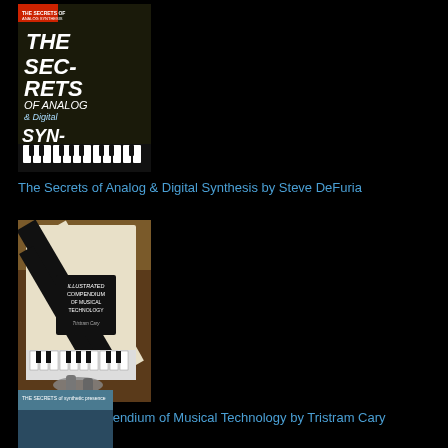[Figure (photo): Book cover: The Secrets of Analog & Digital Synthesis by Steve DeFuria, showing piano keys and synthesizer imagery]
The Secrets of Analog & Digital Synthesis by Steve DeFuria
[Figure (photo): Book cover: Illustrated Compendium of Musical Technology by Tristram Cary, showing piano keys and audio cables on a wooden surface]
Illustrated Compendium of Musical Technology by Tristram Cary
[Figure (photo): Partial view of a third book cover at the bottom of the page]